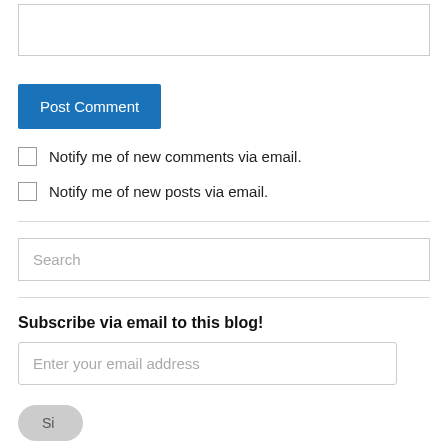[Figure (other): Empty textarea input field for comment]
Post Comment
Notify me of new comments via email.
Notify me of new posts via email.
Search
Subscribe via email to this blog!
Enter your email address